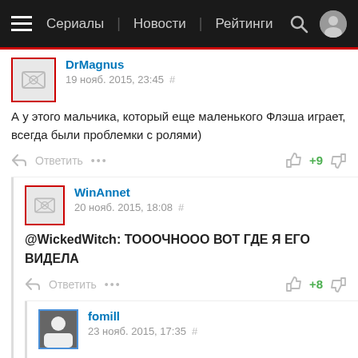Сериалы | Новости | Рейтинги
DrMagnus
19 нояб. 2015, 23:45 #
А у этого мальчика, который еще маленького Флэша играет, всегда были проблемки с ролями)
Ответить  ...  +9
WinAnnet
20 нояб. 2015, 18:08 #
@WickedWitch: ТОООЧНООО ВОТ ГДЕ Я ЕГО ВИДЕЛА
Ответить  ...  +8
fomill
23 нояб. 2015, 17:35 #
@WickedWitch: спасибо тебе, зашел спросить где я мог его видеть, но подумал, что по-любому кто-нибудь об этом напишет и не прогадал)